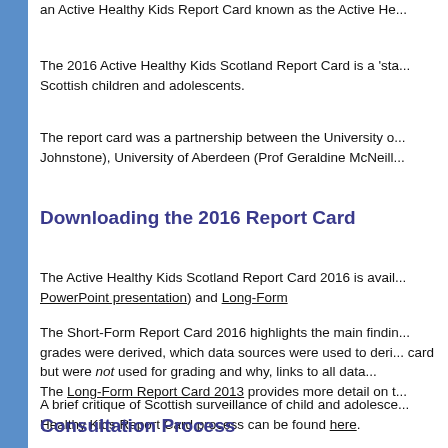an Active Healthy Kids Report Card known as the Active He...
The 2016 Active Healthy Kids Scotland Report Card is a ‘sta... Scottish children and adolescents.
The report card was a partnership between the University o... Johnstone), University of Aberdeen (Prof Geraldine McNeill...
Downloading the 2016 Report Card
The Active Healthy Kids Scotland Report Card 2016 is avail... PowerPoint presentation) and Long-Form
The Short-Form Report Card 2016 highlights the main findin... grades were derived, which data sources were used to deri... card but were not used for grading and why, links to all data...
The Long-Form Report Card 2013 provides more detail on t...
A brief critique of Scottish surveillance of child and adolesce... Healthy Kids Report Card process can be found here.
Consultation Process